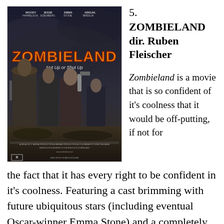[Figure (photo): Movie poster for Zombieland showing four main characters (Woody Harrelson, Jesse Eisenberg, Emma Stone, Abigail Breslin) with weapons against a dark background. The title 'ZOMBIELAND' is displayed prominently in orange/red letters with the tagline 'Nut Up or Shut Up'. Cast names listed at top.]
5.
ZOMBIELAND dir. Ruben Fleischer
Zombieland is a movie that is so confident of it's coolness that it would be off-putting, if not for the fact that it has every right to be confident in it's coolness. Featuring a cast brimming with future ubiquitous stars (including eventual Oscar-winner Emma Stone) and a completely on-brand Woody